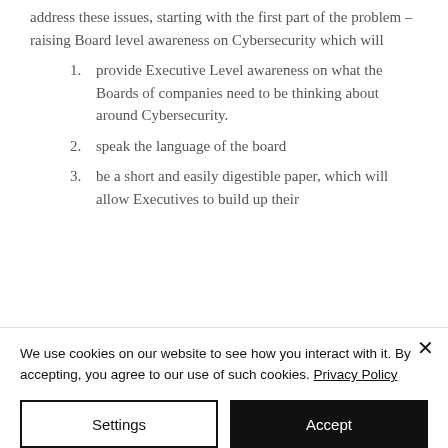address these issues, starting with the first part of the problem – raising Board level awareness on Cybersecurity which will
1. provide Executive Level awareness on what the Boards of companies need to be thinking about around Cybersecurity.
2. speak the language of the board
3. be a short and easily digestible paper, which will allow Executives to build up their
We use cookies on our website to see how you interact with it. By accepting, you agree to our use of such cookies. Privacy Policy
Settings | Accept